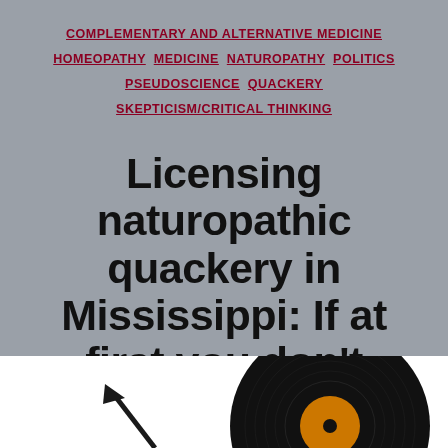COMPLEMENTARY AND ALTERNATIVE MEDICINE  HOMEOPATHY  MEDICINE  NATUROPATHY  POLITICS  PSEUDOSCIENCE  QUACKERY  SKEPTICISM/CRITICAL THINKING
Licensing naturopathic quackery in Mississippi: If at first you don't succeed...
By Orac  October 25, 2016  44 Comments
[Figure (photo): Bottom portion of page showing white background with partial view of what appears to be a vinyl record (black disc with orange label) and an arrow graphic on the left side]